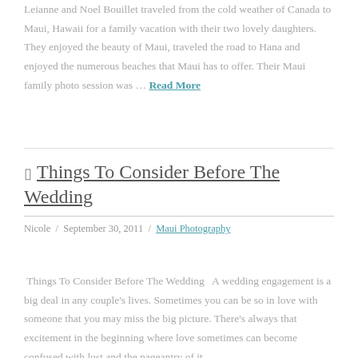Leianne and Noel Bouillet traveled from the cold weather of Canada to Maui, Hawaii for a family vacation with their two lovely daughters. They enjoyed the beauty of Maui, traveled the road to Hana and enjoyed the numerous beaches that Maui has to offer. Their Maui family photo session was … Read More
Things To Consider Before The Wedding
Nicole / September 30, 2011 / Maui Photography
Things To Consider Before The Wedding  A wedding engagement is a big deal in any couple's lives. Sometimes you can be so in love with someone that you may miss the big picture. There's always that excitement in the beginning where love sometimes can become confused with lust and the pageantry of it